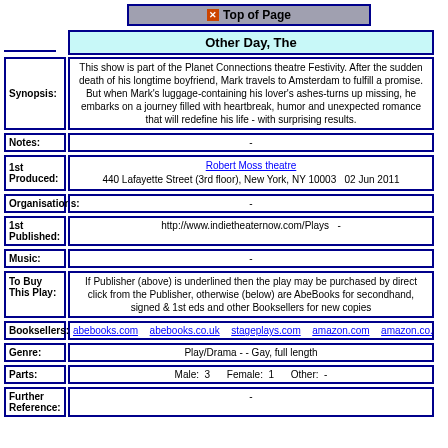Top of Page
Other Day, The
Synopsis: This show is part of the Planet Connections theatre Festivity. After the sudden death of his longtime boyfriend, Mark travels to Amsterdam to fulfill a promise. But when Mark's luggage-containing his lover's ashes-turns up missing, he embarks on a journey filled with heartbreak, humor and unexpected romance that will redefine his life - with surprising results.
Notes: -
1st Produced: Robert Moss theatre 440 Lafayette Street (3rd floor), New York, NY 10003   02 Jun 2011
Organisations: -
1st Published: http://www.indietheaternow.com/Plays  -
Music: -
To Buy This Play: If Publisher (above) is underlined then the play may be purchased by direct click from the Publisher, otherwise (below) are AbeBooks for secondhand, signed & 1st eds and other Booksellers for new copies
Booksellers: abebooks.com  abebooks.co.uk  stageplays.com  amazon.com  amazon.co.uk  am
Genre: Play/Drama  - - Gay, full length
Parts: Male: 3    Female: 1    Other: -
Further Reference: -